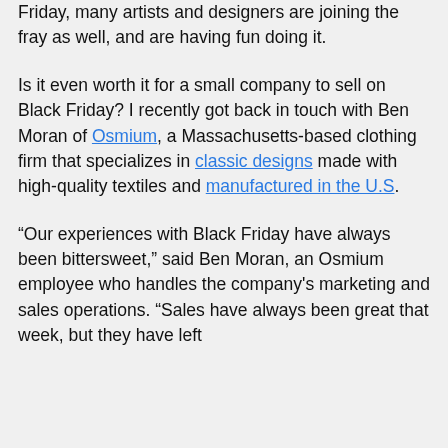Friday, many artists and designers are joining the fray as well, and are having fun doing it.
Is it even worth it for a small company to sell on Black Friday? I recently got back in touch with Ben Moran of Osmium, a Massachusetts-based clothing firm that specializes in classic designs made with high-quality textiles and manufactured in the U.S.
“Our experiences with Black Friday have always been bittersweet,” said Ben Moran, an Osmium employee who handles the company's marketing and sales operations. “Sales have always been great that week, but they have left